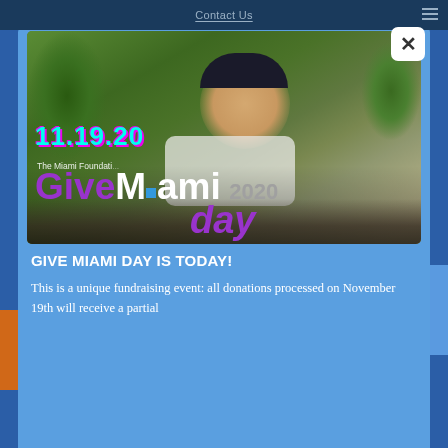Contact Us
[Figure (photo): Give Miami Day 2020 promotional photo showing a man in a Duke cap and sunglasses working outdoors in a garden/community service setting. Text overlay shows date 11.19.20, The Miami Foundation logo, and Give Miami Day 2020 branding.]
GIVE MIAMI DAY IS TODAY!
This is a unique fundraising event: all donations processed on November 19th will receive a partial